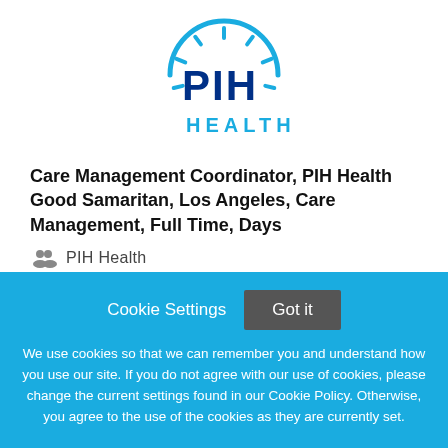[Figure (logo): PIH Health logo with sunburst/arc design above bold blue text 'PIH' and 'HEALTH']
Care Management Coordinator, PIH Health Good Samaritan, Los Angeles, Care Management, Full Time, Days
PIH Health
Cookie Settings   Got it
We use cookies so that we can remember you and understand how you use our site. If you do not agree with our use of cookies, please change the current settings found in our Cookie Policy. Otherwise, you agree to the use of the cookies as they are currently set.